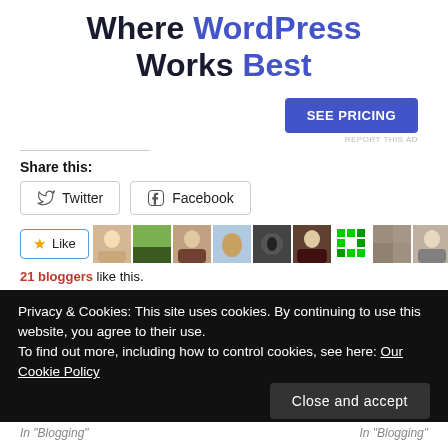Where WordPress Works Best
[Figure (other): SEE PRICING button (blue CTA button)]
REPORT THIS AD
Share this:
[Figure (other): Twitter and Facebook share buttons]
[Figure (other): Like button with star and blogger avatars]
21 bloggers like this.
Privacy & Cookies: This site uses cookies. By continuing to use this website, you agree to their use.
To find out more, including how to control cookies, see here: Our Cookie Policy
[Figure (other): Close and accept button]
In "Blogging"    In "Blogging"